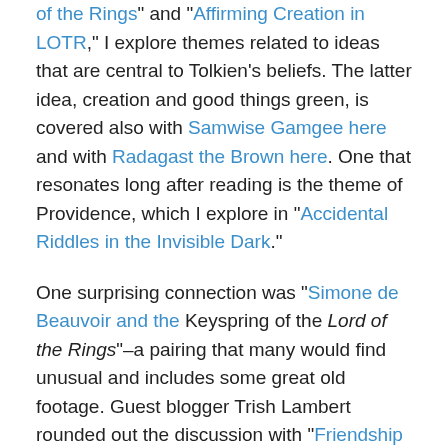of the Rings" and "Affirming Creation in LOTR," I explore themes related to ideas that are central to Tolkien's beliefs. The latter idea, creation and good things green, is covered also with Samwise Gamgee here and with Radagast the Brown here. One that resonates long after reading is the theme of Providence, which I explore in "Accidental Riddles in the Invisible Dark."
One surprising connection was "Simone de Beauvoir and the Keyspring of the Lord of the Rings"–a pairing that many would find unusual and includes some great old footage. Guest blogger Trish Lambert rounded out the discussion with "Friendship Over Family in Lord of the The Rings." Author Tim Willard talks about "Eucatastrophe: J.R.R Tolkien & C.S. Lewis's Magic Formula for Hope." And you can follow Stephen Winter's LOTR thought